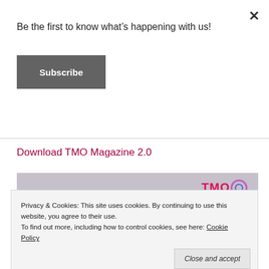Be the first to know what's happening with us!
Subscribe
Download TMO Magazine 2.0
[Figure (photo): TMO Magazine cover image showing stacked magazines on a gray background with TMO logo in upper right]
Privacy & Cookies: This site uses cookies. By continuing to use this website, you agree to their use.
To find out more, including how to control cookies, see here: Cookie Policy
Close and accept